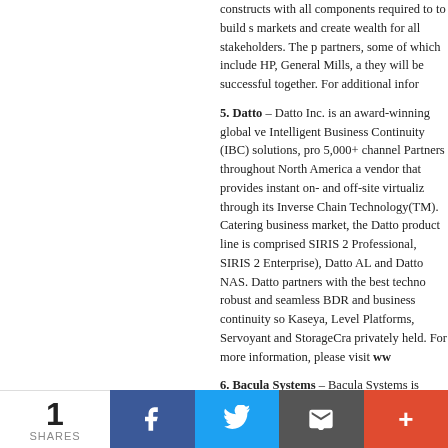constructs with all components required to to build s markets and create wealth for all stakeholders. The p partners, some of which include HP, General Mills, a they will be successful together. For additional infor
5. Datto – Datto Inc. is an award-winning global ve Intelligent Business Continuity (IBC) solutions, pro 5,000+ channel Partners throughout North America a vendor that provides instant on- and off-site virtualiz through its Inverse Chain Technology(TM). Catering business market, the Datto product line is comprised SIRIS 2 Professional, SIRIS 2 Enterprise), Datto AL and Datto NAS. Datto partners with the best techno robust and seamless BDR and business continuity so Kaseya, Level Platforms, Servoyant and StorageCra privately held. For more information, please visit ww
6. Bacula Systems – Bacula Systems is Switzerland restore software- Company, which combines Bacula class support and professional services. Bacula Syste commitment to safe, secure and reliable backup solu force of open core in the industry, combined with pr accountability expected from enterprise software ve community project, Bacula Enterprise, is by far the m backup, data recovery and protection of computer da cost of ownership compared to proprietary solutions
1 SHARES